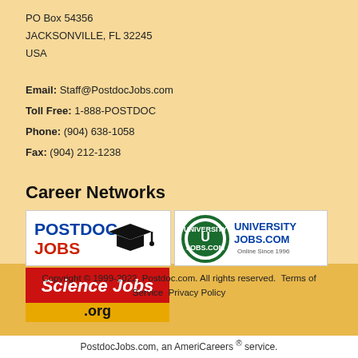PO Box 54356
JACKSONVILLE, FL 32245
USA
Email: Staff@PostdocJobs.com
Toll Free: 1-888-POSTDOC
Phone: (904) 638-1058
Fax: (904) 212-1238
Career Networks
[Figure (logo): PostdocJobs logo with graduation cap]
[Figure (logo): UniversityJobs.com logo with circular emblem]
[Figure (logo): ScienceJobs.org logo in red and yellow]
Copyright © 1999-2022, Postdoc.com. All rights reserved.  Terms of Service  Privacy Policy
PostdocJobs.com, an AmeriCareers ® service.